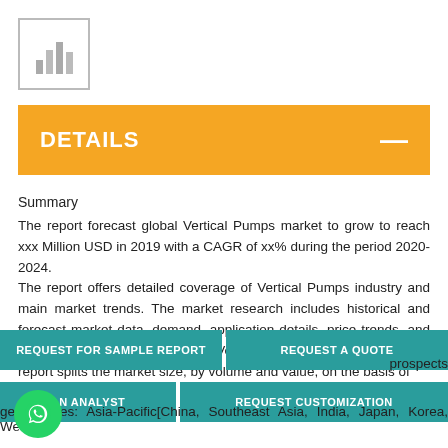[Figure (logo): Bar chart logo icon in a bordered box]
DETAILS
Summary
The report forecast global Vertical Pumps market to grow to reach xxx Million USD in 2019 with a CAGR of xx% during the period 2020-2024.
The report offers detailed coverage of Vertical Pumps industry and main market trends. The market research includes historical and forecast market data, demand, application details, price trends, and company shares of the leading Vertical Pumps by geography. The report splits the market size, by volume and value, on the basis of
prospects
geographies: Asia-Pacific[China, Southeast Asia, India, Japan, Korea, Western